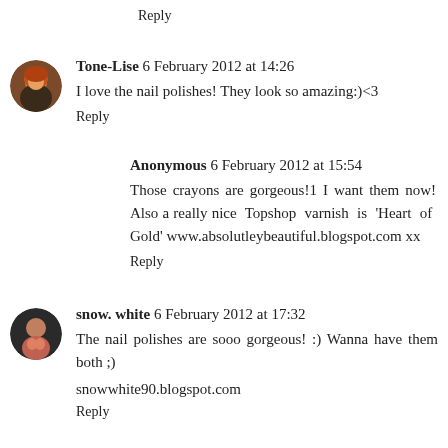Reply
Tone-Lise 6 February 2012 at 14:26
I love the nail polishes! They look so amazing:)<3
Reply
Anonymous 6 February 2012 at 15:54
Those crayons are gorgeous!1 I want them now! Also a really nice Topshop varnish is 'Heart of Gold' www.absolutleybeautiful.blogspot.com xx
Reply
snow. white 6 February 2012 at 17:32
The nail polishes are sooo gorgeous! :) Wanna have them both ;)
snowwhite90.blogspot.com
Reply